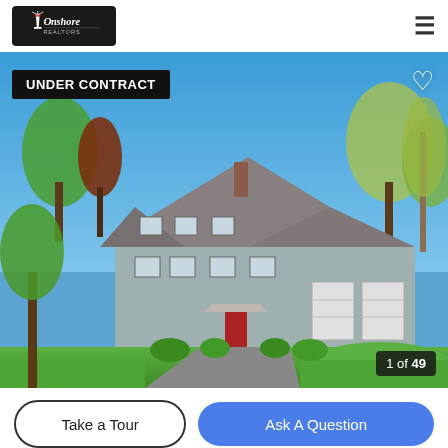[Figure (logo): Onshore Realtors logo — white text on dark background with lighthouse icon]
[Figure (photo): Exterior photo of a large colonial-style grey house with red front door and two-car garage, green lawn, trees, blue sky, curved driveway. Badge reads UNDER CONTRACT. Heart icon top right. Counter shows 1 of 49.]
Take a Tour
Ask A Question